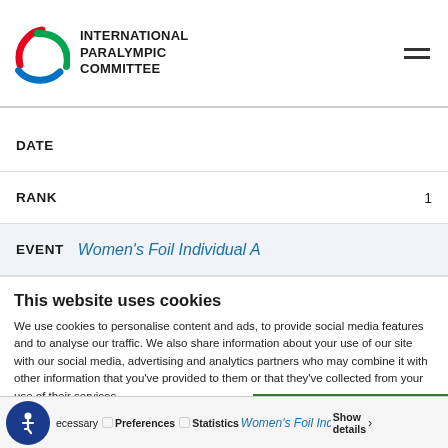International Paralympic Committee
DATE
RANK  1
EVENT  Women's Foil Individual A
This website uses cookies
We use cookies to personalise content and ads, to provide social media features and to analyse our traffic. We also share information about your use of our site with our social media, advertising and analytics partners who may combine it with other information that you've provided to them or that they've collected from your use of their services.
Allow all cookies
Allow selection
Use necessary cookies o
ecessary  Preferences  Statistics  Women's Foil Indiv  Show details